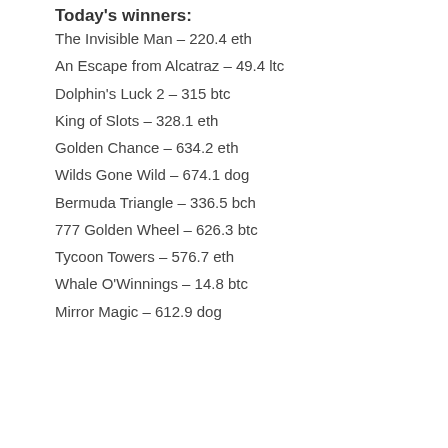Today's winners:
The Invisible Man – 220.4 eth
An Escape from Alcatraz – 49.4 ltc
Dolphin's Luck 2 – 315 btc
King of Slots – 328.1 eth
Golden Chance – 634.2 eth
Wilds Gone Wild – 674.1 dog
Bermuda Triangle – 336.5 bch
777 Golden Wheel – 626.3 btc
Tycoon Towers – 576.7 eth
Whale O'Winnings – 14.8 btc
Mirror Magic – 612.9 dog